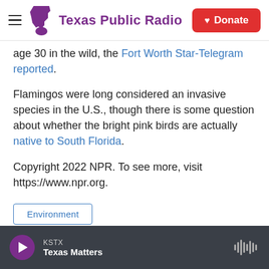Texas Public Radio | Donate
age 30 in the wild, the Fort Worth Star-Telegram reported.
Flamingos were long considered an invasive species in the U.S., though there is some question about whether the bright pink birds are actually native to South Florida.
Copyright 2022 NPR. To see more, visit https://www.npr.org.
Environment
KSTX | Texas Matters